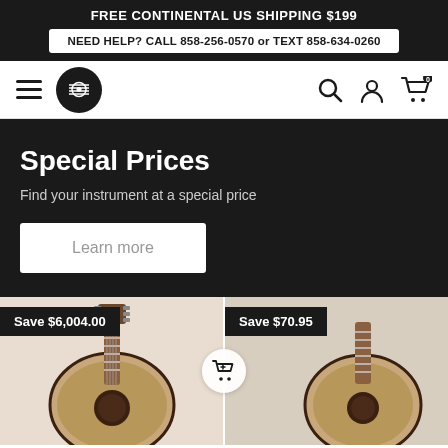FREE CONTINENTAL US SHIPPING $199
NEED HELP? CALL 858-256-0570 or TEXT 858-634-0260
Special Prices
Find your instrument at a special price
Learn more
[Figure (photo): Guitar product with Save $6,004.00 badge]
[Figure (photo): Guitar product with Save $70.95 badge]